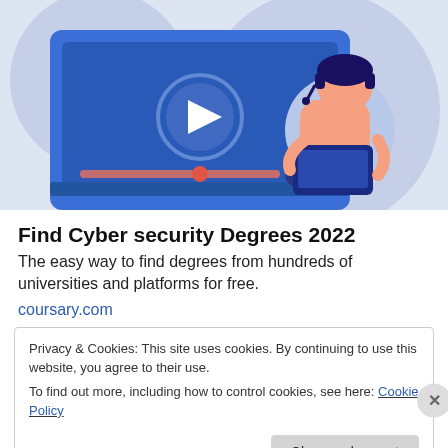[Figure (illustration): Illustration of a laptop/video player with a play button and progress bar, and a person sitting with headphones using a laptop, on a blue/light purple background]
Find Cyber security Degrees 2022
The easy way to find degrees from hundreds of universities and platforms for free.
coursary.com
Privacy & Cookies: This site uses cookies. By continuing to use this website, you agree to their use.
To find out more, including how to control cookies, see here: Cookie Policy